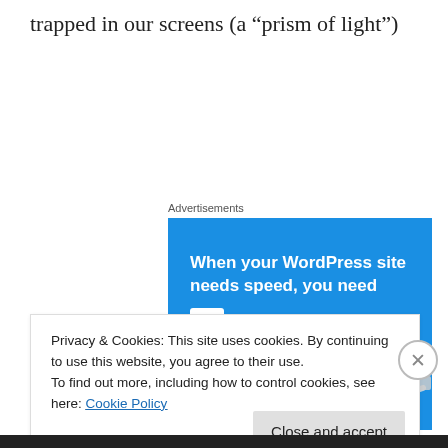trapped in our screens (a “prism of light”)
Advertisements
[Figure (screenshot): Advertisement banner for Pressable WordPress hosting. Blue background with white bold text reading 'When your WordPress site needs speed, you need' followed by the Pressable logo (white P icon in a box) and brand name 'Pressable'. A green underline bar is shown below the brand. A person leaping while holding a laptop is shown in the lower right.]
Privacy & Cookies: This site uses cookies. By continuing to use this website, you agree to their use.
To find out more, including how to control cookies, see here: Cookie Policy
Close and accept